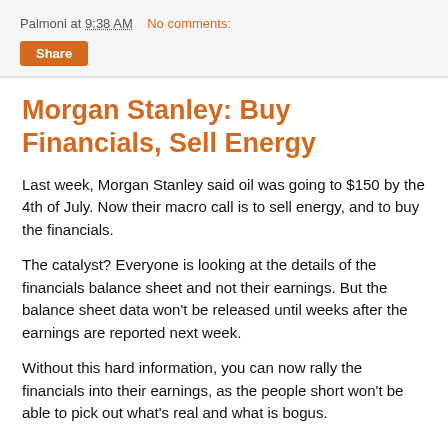Palmoni at 9:38 AM   No comments:
Share
Morgan Stanley: Buy Financials, Sell Energy
Last week, Morgan Stanley said oil was going to $150 by the 4th of July. Now their macro call is to sell energy, and to buy the financials.
The catalyst? Everyone is looking at the details of the financials balance sheet and not their earnings. But the balance sheet data won't be released until weeks after the earnings are reported next week.
Without this hard information, you can now rally the financials into their earnings, as the people short won't be able to pick out what's real and what is bogus.